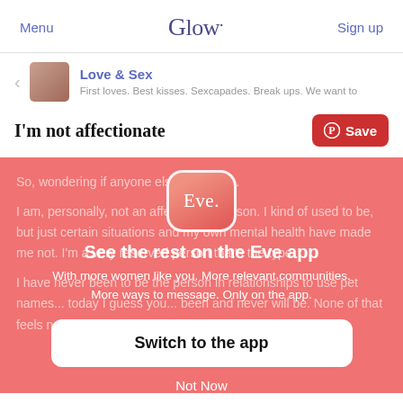Menu  Glow.  Sign up
Love & Sex
First loves. Best kisses. Sexcapades. Break ups. We want to
I'm not affectionate
So, wondering if anyone else is like this.

I am, personally, not an affectionate person. I kind of used to be, but just certain situations and my own mental health have made me not. I'm a very reserved person that's the type...

I have never been to be the person in relationships to use pet names... today I guess you... been and never will be. None of that feels natural for me to do. It's
[Figure (screenshot): Eve app promotional overlay on coral/salmon background with Eve app icon, 'See the rest on the Eve app' heading, subtitle text, 'Switch to the app' button, and 'Not Now' link]